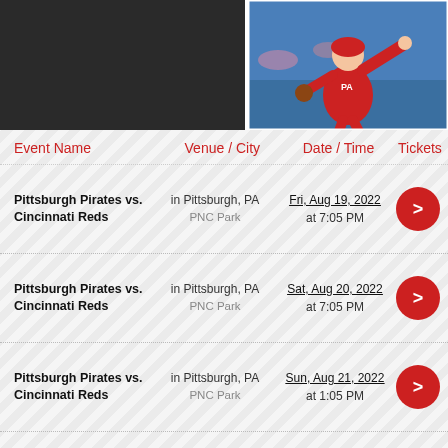[Figure (photo): Baseball pitcher in red uniform throwing a pitch, photo on dark banner background]
| Event Name | Venue / City | Date / Time | Tickets |
| --- | --- | --- | --- |
| Pittsburgh Pirates vs. Cincinnati Reds | in Pittsburgh, PA
PNC Park | Fri, Aug 19, 2022
at 7:05 PM | > |
| Pittsburgh Pirates vs. Cincinnati Reds | in Pittsburgh, PA
PNC Park | Sat, Aug 20, 2022
at 7:05 PM | > |
| Pittsburgh Pirates vs. Cincinnati Reds | in Pittsburgh, PA
PNC Park | Sun, Aug 21, 2022
at 1:05 PM | > |
| Philadelphia Phillies vs. Cincinnati Reds | in Philadelphia, PA
Citizens Bank | Mon, Aug 22, 2022
at 7:05 PM | > |